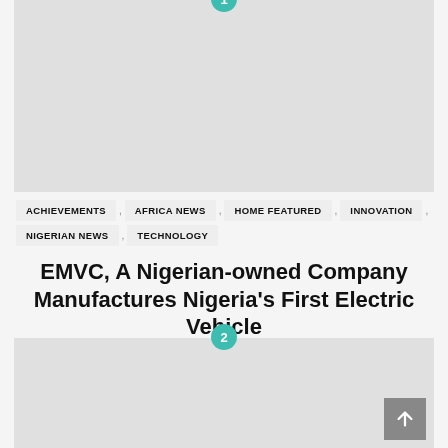[Figure (photo): Top image placeholder (light gray rectangle with numbered badge 1)]
ACHIEVEMENTS
AFRICA NEWS
HOME FEATURED
INNOVATION
NIGERIAN NEWS
TECHNOLOGY
EMVC, A Nigerian-owned Company Manufactures Nigeria's First Electric Vehicle
[Figure (photo): Bottom image placeholder (light gray rectangle with numbered badge 2)]